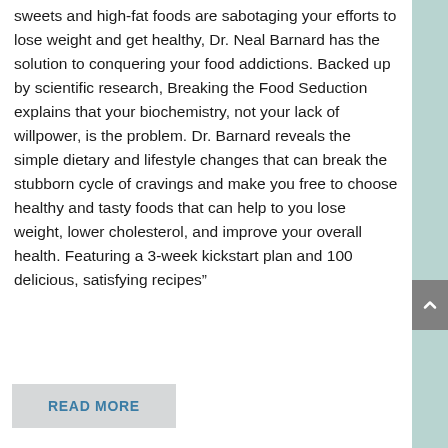sweets and high-fat foods are sabotaging your efforts to lose weight and get healthy, Dr. Neal Barnard has the solution to conquering your food addictions. Backed up by scientific research, Breaking the Food Seduction explains that your biochemistry, not your lack of willpower, is the problem. Dr. Barnard reveals the simple dietary and lifestyle changes that can break the stubborn cycle of cravings and make you free to choose healthy and tasty foods that can help to you lose weight, lower cholesterol, and improve your overall health. Featuring a 3-week kickstart plan and 100 delicious, satisfying recipes”
READ MORE